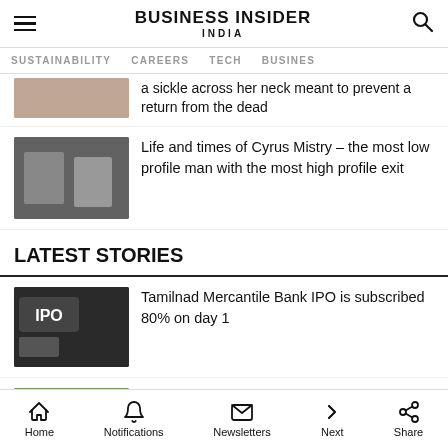Business Insider India
SUSTAINABILITY   CAREERS   TECH   BUSINES
a sickle across her neck meant to prevent a return from the dead
Life and times of Cyrus Mistry – the most low profile man with the most high profile exit
LATEST STORIES
Tamilnad Mercantile Bank IPO is subscribed 80% on day 1
Kotak Mahindra AMC launches new fund – will invest across economic cycles
Home   Notifications   Newsletters   Next   Share